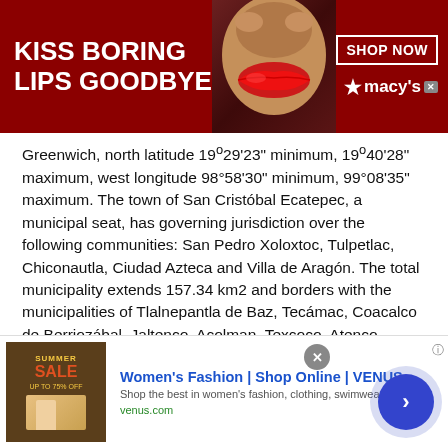[Figure (other): Macy's advertisement banner with dark red background, woman's face with red lips, text 'KISS BORING LIPS GOODBYE', 'SHOP NOW' button and Macy's star logo]
Greenwich, north latitude 19º29'23" minimum, 19º40'28" maximum, west longitude 98°58'30" minimum, 99°08'35" maximum. The town of San Cristóbal Ecatepec, a municipal seat, has governing jurisdiction over the following communities: San Pedro Xoloxtoc, Tulpetlac, Chiconautla, Ciudad Azteca and Villa de Aragón. The total municipality extends 157.34 km2 and borders with the municipalities of Tlalnepantla de Baz, Tecámac, Coacalco de Berriozábal, Jaltenco, Acolman, Texcoco, Atenco...
Source: Wikipedia (as of 03/30/2021). Read more from Wikipedia
This site uses cookies and other similar technologies to provide site functionality, analyze traffic and usage, and
[Figure (other): Bottom advertisement for Women's Fashion | Shop Online | VENUS with product image, title, subtitle 'Shop the best in women's fashion, clothing, swimwear', URL venus.com, close button and navigation arrow]